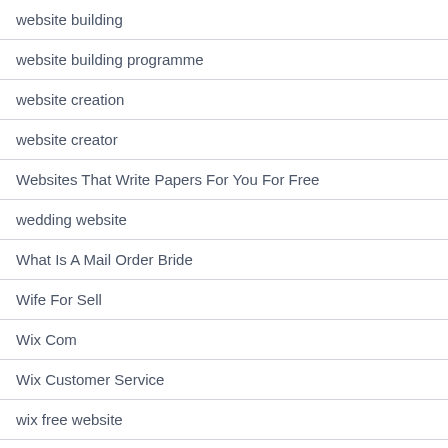website building
website building programme
website creation
website creator
Websites That Write Papers For You For Free
wedding website
What Is A Mail Order Bride
Wife For Sell
Wix Com
Wix Customer Service
wix free website
Wix Login